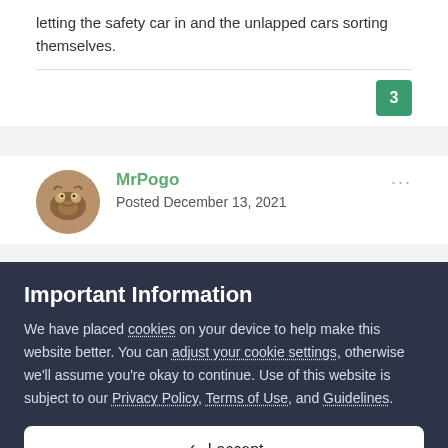letting the safety car in and the unlapped cars sorting themselves.
3
MrPogo
Posted December 13, 2021
Important Information
We have placed cookies on your device to help make this website better. You can adjust your cookie settings, otherwise we'll assume you're okay to continue. Use of this website is subject to our Privacy Policy, Terms of Use, and Guidelines.
✓  I accept